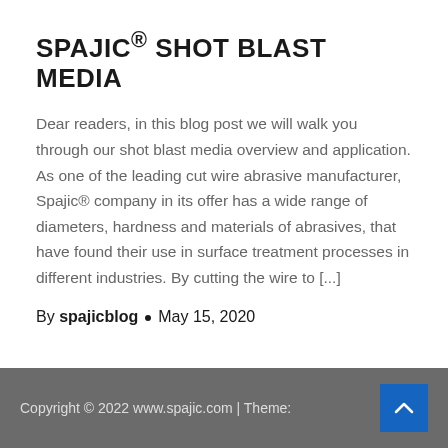SPAJIC® SHOT BLAST MEDIA
Dear readers, in this blog post we will walk you through our shot blast media overview and application. As one of the leading cut wire abrasive manufacturer, Spajic® company in its offer has a wide range of diameters, hardness and materials of abrasives, that have found their use in surface treatment processes in different industries. By cutting the wire to [...]
By spajicblog · May 15, 2020
Copyright © 2022 www.spajic.com | Theme: